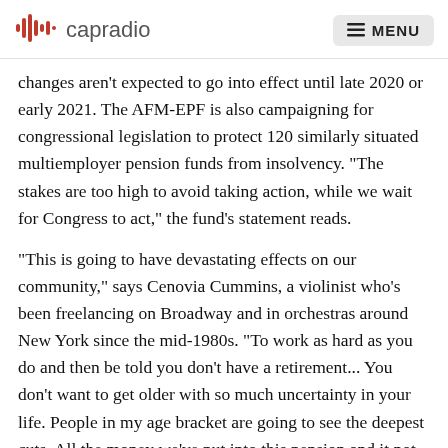capradio  MENU
changes aren't expected to go into effect until late 2020 or early 2021. The AFM-EPF is also campaigning for congressional legislation to protect 120 similarly situated multiemployer pension funds from insolvency. "The stakes are too high to avoid taking action, while we wait for Congress to act," the fund's statement reads.
"This is going to have devastating effects on our community," says Cenovia Cummins, a violinist who's been freelancing on Broadway and in orchestras around New York since the mid-1980s. "To work as hard as you do and then be told you don't have a retirement... You don't want to get older with so much uncertainty in your life. People in my age bracket are going to see the deepest cuts. All the money we've put into this pension and it not being there... It's such a betrayal."
The growing of the union has had a major impact on the